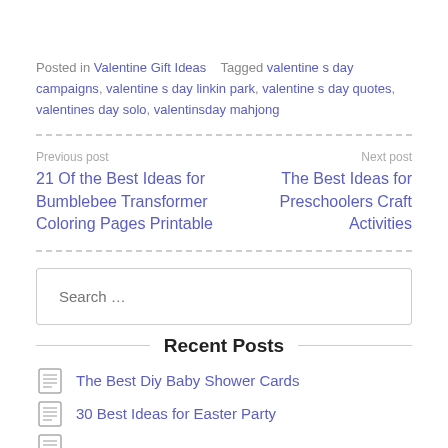Posted in Valentine Gift Ideas   Tagged valentine s day campaigns, valentine s day linkin park, valentine s day quotes, valentines day solo, valentinsday mahjong
Previous post
21 Of the Best Ideas for Bumblebee Transformer Coloring Pages Printable
Next post
The Best Ideas for Preschoolers Craft Activities
Search …
Recent Posts
The Best Diy Baby Shower Cards
30 Best Ideas for Easter Party